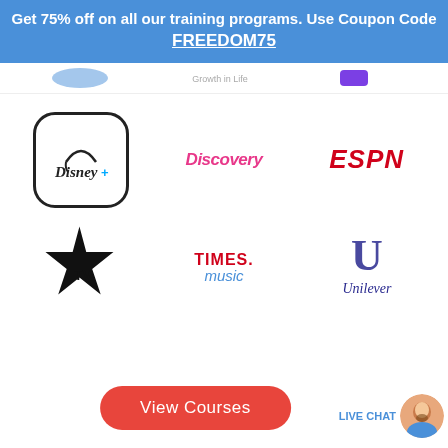Get 75% off on all our training programs. Use Coupon Code FREEDOM75
[Figure (logo): Partial navigation bar with 'Growth in Life' tagline and partial logo elements]
[Figure (logo): Disney+ logo in rounded square box]
[Figure (logo): Discovery channel logo in pink italic font]
[Figure (logo): ESPN logo in bold red italic font]
[Figure (logo): Star TV logo - black star with TV text]
[Figure (logo): TIMES. music logo]
[Figure (logo): Unilever logo - decorative U with Unilever text]
View Courses
LIVE CHAT